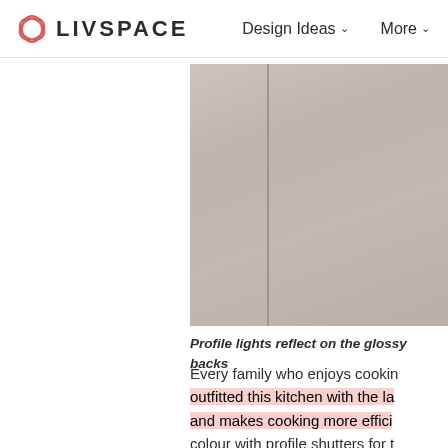LIVSPACE  Design Ideas ∨  More ∨
[Figure (photo): Close-up of beige/taupe glossy kitchen cabinet panels with a vertical divider line, partial view cropped on right side]
Profile lights reflect on the glossy backs
Every family who enjoys cookin outfitted this kitchen with the la and makes cooking more effici colour with profile shutters for t